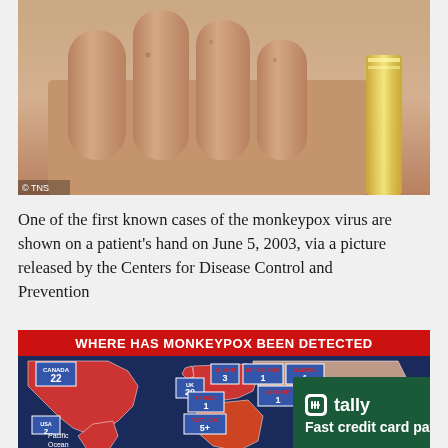[Figure (photo): Close-up photograph of a patient's hand showing monkeypox lesions on the fingers. A diamond ring is visible on the right side. Credit: © TNS]
One of the first known cases of the monkeypox virus are shown on a patient's hand on June 5, 2003, via a picture released by the Centers for Disease Control and Prevention
[Figure (map): World map titled 'WHERE HAS MONKEYPOX BEEN DETECTED' showing countries with detected cases including Canada (22), UK (20), France (1), Belgium (3), Netherlands (1), Sweden (1), Germany (1), and other European countries. The map uses red highlighting for affected regions on a dark blue background.]